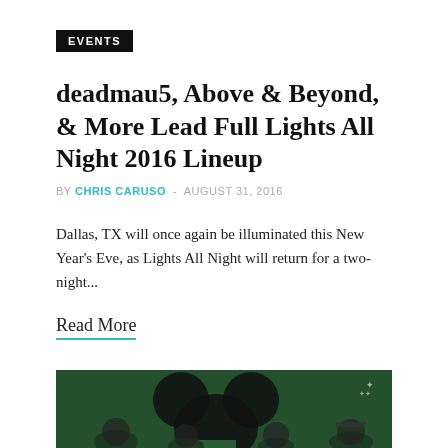EVENTS
deadmau5, Above & Beyond, & More Lead Full Lights All Night 2016 Lineup
BY CHRIS CARUSO - AUGUST 31, 2016
Dallas, TX will once again be illuminated this New Year's Eve, as Lights All Night will return for a two-night...
Read More
[Figure (photo): Green-tinted photo of people with deadmau5 mouse head silhouette in background, with a small logo watermark in top right corner]